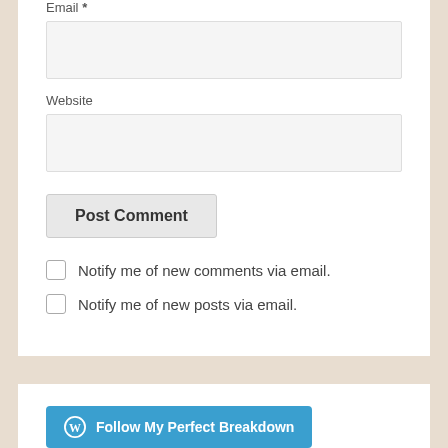Email *
Website
Post Comment
Notify me of new comments via email.
Notify me of new posts via email.
[Figure (other): WordPress Follow My Perfect Breakdown button in blue]
Enter your email address to follow this blog and receive